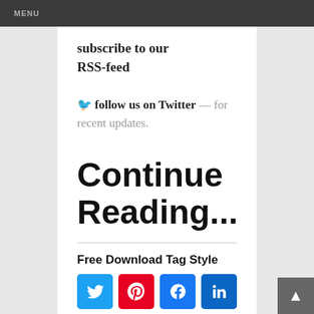MENU
subscribe to our RSS-feed
🐦 follow us on Twitter — for recent updates.
Continue Reading...
Free Download Tag Style